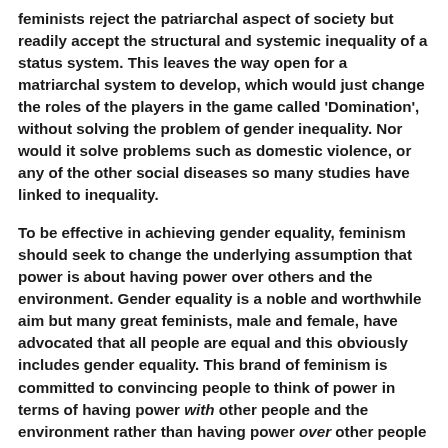feminists reject the patriarchal aspect of society but readily accept the structural and systemic inequality of a status system. This leaves the way open for a matriarchal system to develop, which would just change the roles of the players in the game called 'Domination', without solving the problem of gender inequality. Nor would it solve problems such as domestic violence, or any of the other social diseases so many studies have linked to inequality.
To be effective in achieving gender equality, feminism should seek to change the underlying assumption that power is about having power over others and the environment. Gender equality is a noble and worthwhile aim but many great feminists, male and female, have advocated that all people are equal and this obviously includes gender equality. This brand of feminism is committed to convincing people to think of power in terms of having power with other people and the environment rather than having power over other people and the environment. It seeks to apply this in the family, workplace, business, and community.